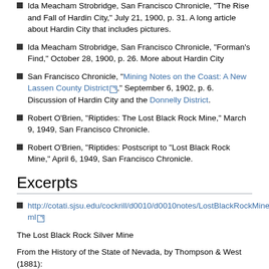Ida Meacham Strobridge, San Francisco Chronicle, "The Rise and Fall of Hardin City," July 21, 1900, p. 31. A long article about Hardin City that includes pictures.
Ida Meacham Strobridge, San Francisco Chronicle, "Forman's Find," October 28, 1900, p. 26. More about Hardin City
San Francisco Chronicle, "Mining Notes on the Coast: A New Lassen County District," September 6, 1902, p. 6. Discussion of Hardin City and the Donnelly District.
Robert O'Brien, "Riptides: The Lost Black Rock Mine," March 9, 1949, San Francisco Chronicle.
Robert O'Brien, "Riptides: Postscript to "Lost Black Rock Mine," April 6, 1949, San Francisco Chronicle.
Excerpts
http://cotati.sjsu.edu/cockrill/d0010/d0010notes/LostBlackRockMine.html
The Lost Black Rock Silver Mine
From the History of the State of Nevada, by Thompson & West (1881):
The Black Rock Prospectors. In the summer of 1849, Allen Harding and two other parties, whose names are not known, at daylight one morning, left the emigrant road to hunt for game, being short of provisions. They were on their way from the States to California at the time, and had arrived